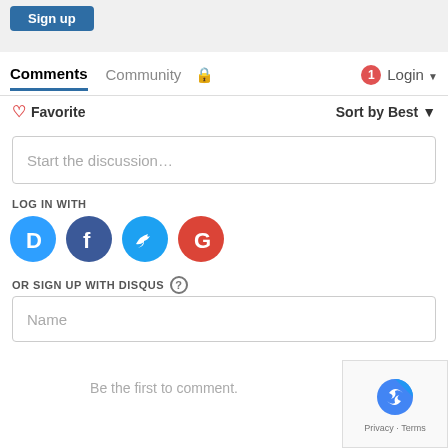[Figure (screenshot): Sign up button (blue rounded rectangle) in a light grey bar at top of page]
Comments  Community  🔒  1  Login ▾
♡ Favorite  Sort by Best ▾
Start the discussion…
LOG IN WITH
[Figure (logo): Four social login icons: Disqus (blue circle, D), Facebook (dark blue circle, f), Twitter (light blue circle, bird), Google (red circle, G)]
OR SIGN UP WITH DISQUS ?
Name
Be the first to comment.
[Figure (logo): reCAPTCHA badge with arrows logo and Privacy - Terms text]